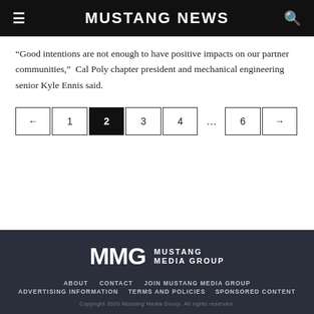MUSTANG NEWS
“Good intentions are not enough to have positive impacts on our partner communities,”  Cal Poly chapter president and mechanical engineering senior Kyle Ennis said.
Pagination: ← 1 2 3 4 … 6 →
[Figure (logo): MMG Mustang Media Group logo in white on dark background]
ABOUT  CONTACT  JOIN MUSTANG MEDIA GROUP  ADVERTISING INFORMATION  TERMS AND POLICIES  SPONSORED CONTENT  Copyright 2020 Mustang Media Group. All rights reserved.